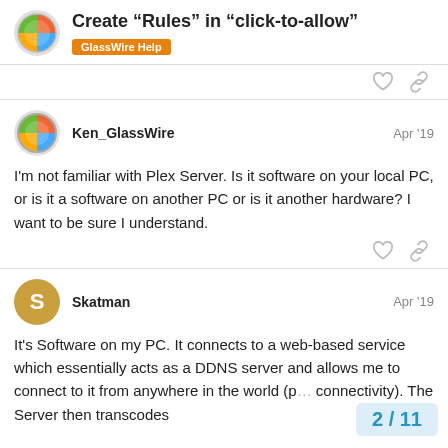Create “Rules” in “click-to-allow” | GlassWire Help
Ken_GlassWire  Apr '19
I'm not familiar with Plex Server. Is it software on your local PC, or is it a software on another PC or is it another hardware? I want to be sure I understand.
Skatman  Apr '19
It's Software on my PC. It connects to a web-based service which essentially acts as a DDNS server and allows me to connect to it from anywhere in the world (p... connectivity). The Server then transcodes
2 / 11